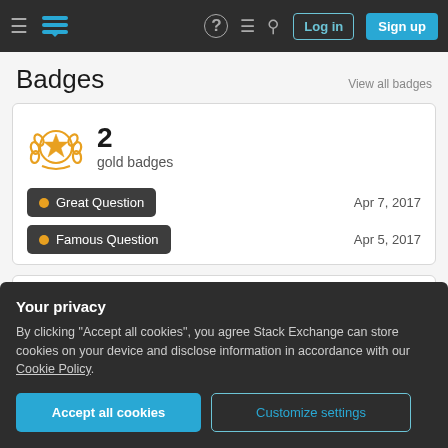Stack Exchange navigation header with Log in and Sign up buttons
Badges
View all badges
| Badge | Date |
| --- | --- |
| Great Question | Apr 7, 2017 |
| Famous Question | Apr 5, 2017 |
Your privacy
By clicking "Accept all cookies", you agree Stack Exchange can store cookies on your device and disclose information in accordance with our Cookie Policy.
Accept all cookies | Customize settings